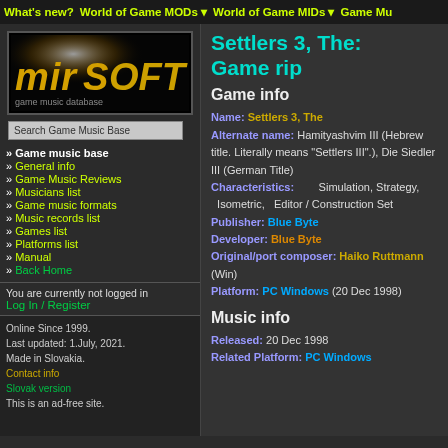What's new? | World of Game MODs ▾ | World of Game MIDs ▾ | Game Mu...
[Figure (logo): Mirsoft logo in yellow metallic stylized text on black background]
Search Game Music Base
» Game music base
» General info
» Game Music Reviews
» Musicians list
» Game music formats
» Music records list
» Games list
» Platforms list
» Manual
» Back Home
You are currently not logged in
Log In / Register
Online Since 1999.
Last updated: 1.July, 2021.
Made in Slovakia.
Contact info
Slovak version
This is an ad-free site.
Settlers 3, The: Game rip
Game info
Name: Settlers 3, The
Alternate name: Hamityashvim III (Hebrew title. Literally means "Settlers III".), Die Siedler III (German Title)
Characteristics: Simulation, Strategy, Isometric, Editor / Construction Set
Publisher: Blue Byte
Developer: Blue Byte
Original/port composer: Haiko Ruttmann (Win)
Platform: PC Windows (20 Dec 1998)
Music info
Released: 20 Dec 1998
Related Platform: PC Windows